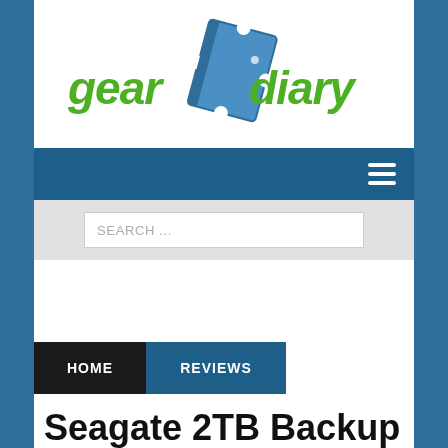[Figure (logo): Gear Diary logo with green text 'gear' and 'diary' flanking a blue puzzle-piece notebook graphic]
☰ (hamburger menu icon)
SEARCH ...
HOME
REVIEWS
Seagate 2TB Backup